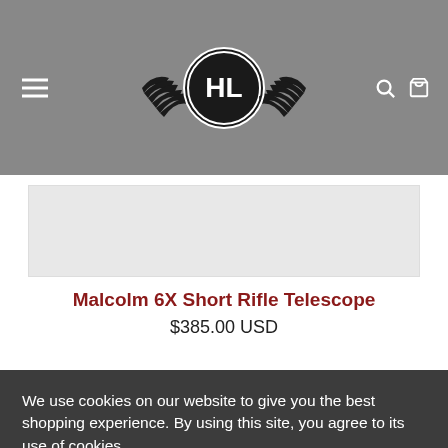[Figure (logo): HL brand logo with wings emblem in black and white circle, on grey header background with hamburger menu icon on left and search/cart icons on right]
[Figure (photo): Product image placeholder showing Malcolm 6X Short Rifle Telescope (partially visible, light grey box)]
Malcolm 6X Short Rifle Telescope
$385.00 USD
We use cookies on our website to give you the best shopping experience. By using this site, you agree to its use of cookies.
I agree